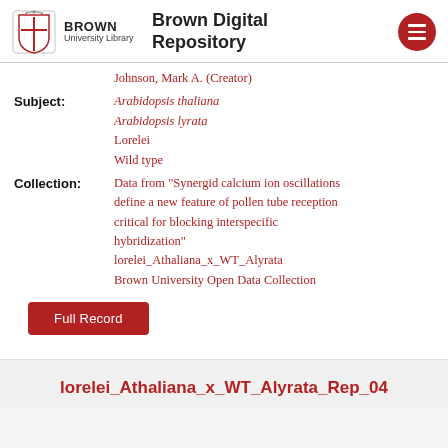Brown Digital Repository
Johnson, Mark A. (Creator)
Subject: Arabidopsis thaliana / Arabidopsis lyrata / Lorelei / Wild type
Collection: Data from "Synergid calcium ion oscillations define a new feature of pollen tube reception critical for blocking interspecific hybridization" / lorelei_Athaliana_x_WT_Alyrata / Brown University Open Data Collection
Full Record
lorelei_Athaliana_x_WT_Alyrata_Rep_04